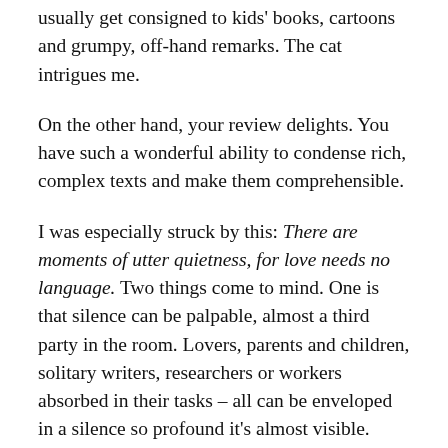usually get consigned to kids' books, cartoons and grumpy, off-hand remarks. The cat intrigues me.
On the other hand, your review delights. You have such a wonderful ability to condense rich, complex texts and make them comprehensible.
I was especially struck by this: There are moments of utter quietness, for love needs no language. Two things come to mind. One is that silence can be palpable, almost a third party in the room. Lovers, parents and children, solitary writers, researchers or workers absorbed in their tasks – all can be enveloped in a silence so profound it's almost visible.
The other thought is that love itself is a language. Glances, sighs, touch – all of those suffice when words fail.